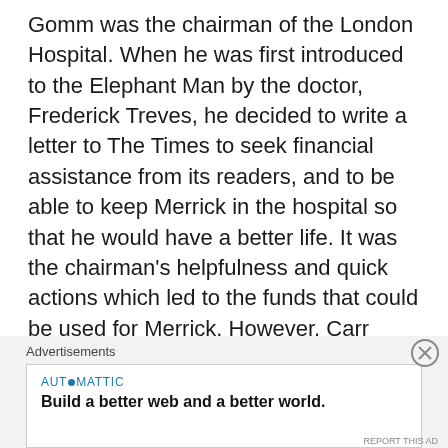Gomm was the chairman of the London Hospital. When he was first introduced to the Elephant Man by the doctor, Frederick Treves, he decided to write a letter to The Times to seek financial assistance from its readers, and to be able to keep Merrick in the hospital so that he would have a better life. It was the chairman's helpfulness and quick actions which led to the funds that could be used for Merrick. However, Carr Gomm was also responsible and a man of integrity, as can be seen when he wrote another letter to The Times informing of Merrick's unfortunate death and that the remaining money meant for him will go to the hospital.
Advertisements
AUTOMATTIC
Build a better web and a better world.